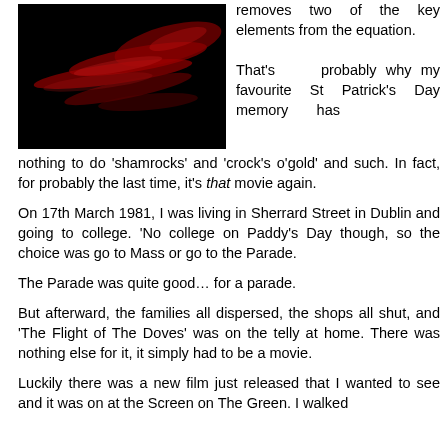[Figure (photo): Dark image showing what appears to be red-lit abstract shapes or flames against a black background]
removes two of the key elements from the equation.

That's probably why my favourite St Patrick's Day memory has nothing to do 'shamrocks' and 'crock's o'gold' and such. In fact, for probably the last time, it's that movie again.

On 17th March 1981, I was living in Sherrard Street in Dublin and going to college. 'No college on Paddy's Day though, so the choice was go to Mass or go to the Parade.

The Parade was quite good… for a parade.

But afterward, the families all dispersed, the shops all shut, and 'The Flight of The Doves' was on the telly at home. There was nothing else for it, it simply had to be a movie.

Luckily there was a new film just released that I wanted to see and it was on at the Screen on The Green. I walked